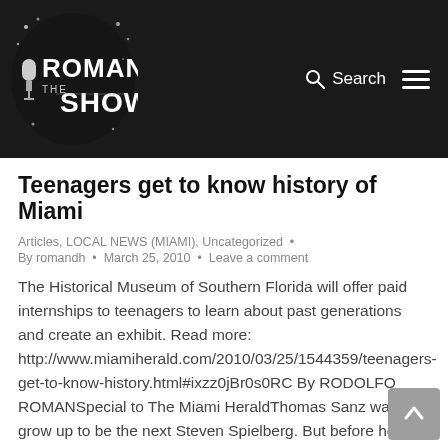[Figure (logo): Roman The Show logo — white stylized text on dark/grunge background with microphone illustration]
Teenagers get to know history of Miami
Articles, LOCAL NEWS (MIAMI), Uncategorized •
By romandh • March 25, 2010 • Leave a comment
The Historical Museum of Southern Florida will offer paid internships to teenagers to learn about past generations and create an exhibit. Read more: http://www.miamiherald.com/2010/03/25/1544359/teenagers-get-to-know-history.html#ixzz0jBr0s0RC By RODOLFO ROMANSpecial to The Miami HeraldThomas Sanz wants to grow up to be the next Steven Spielberg. But before he gets to reach his goal of becoming a film director,...